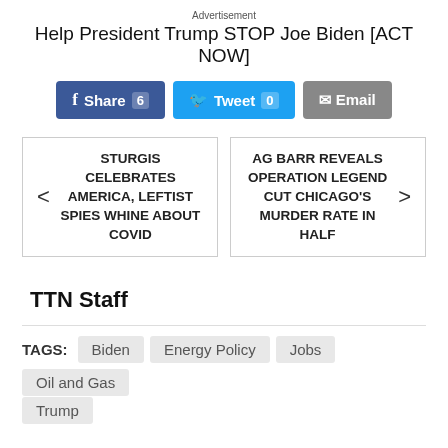Advertisement
Help President Trump STOP Joe Biden [ACT NOW]
Share 6  Tweet 0  Email
< STURGIS CELEBRATES AMERICA, LEFTIST SPIES WHINE ABOUT COVID
AG BARR REVEALS OPERATION LEGEND CUT CHICAGO'S MURDER RATE IN HALF >
TTN Staff
TAGS: Biden  Energy Policy  Jobs  Oil and Gas  Trump